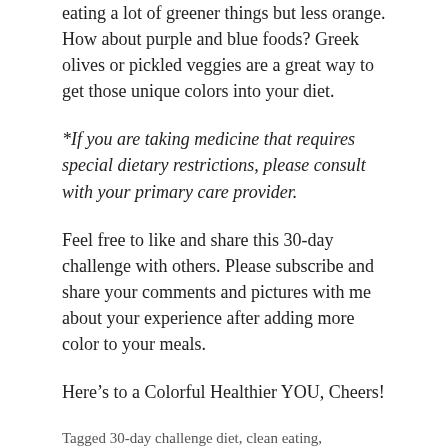eating a lot of greener things but less orange. How about purple and blue foods? Greek olives or pickled veggies are a great way to get those unique colors into your diet.
*If you are taking medicine that requires special dietary restrictions, please consult with your primary care provider.
Feel free to like and share this 30-day challenge with others. Please subscribe and share your comments and pictures with me about your experience after adding more color to your meals.
Here’s to a Colorful Healthier YOU, Cheers!
Tagged 30-day challenge diet, clean eating,